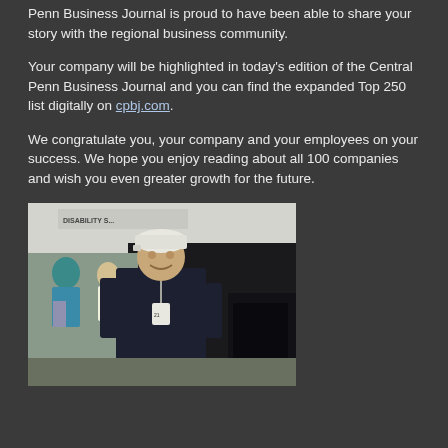Penn Business Journal is proud to have been able to share your story with the regional business community.
Your company will be highlighted in today's edition of the Central Penn Business Journal and you can find the expanded Top 250 list digitally on cpbj.com.
We congratulate you, your company and your employees on your success. We hope you enjoy reading about all 100 companies and wish you even greater growth for the future.
[Figure (photo): A man in a dark polo shirt and white cap standing outdoors at an event with tents and other people visible in the background.]